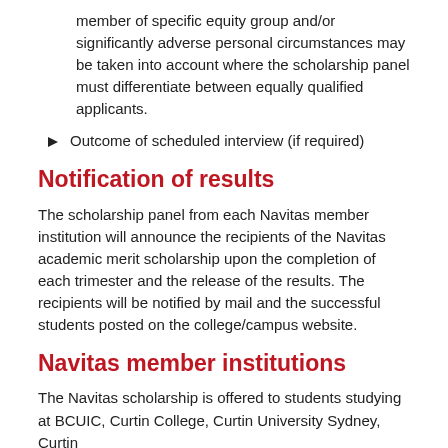member of specific equity group and/or significantly adverse personal circumstances may be taken into account where the scholarship panel must differentiate between equally qualified applicants.
Outcome of scheduled interview (if required)
Notification of results
The scholarship panel from each Navitas member institution will announce the recipients of the Navitas academic merit scholarship upon the completion of each trimester and the release of the results. The recipients will be notified by mail and the successful students posted on the college/campus website.
Navitas member institutions
The Navitas scholarship is offered to students studying at BCUIC, Curtin College, Curtin University Sydney, Curtin